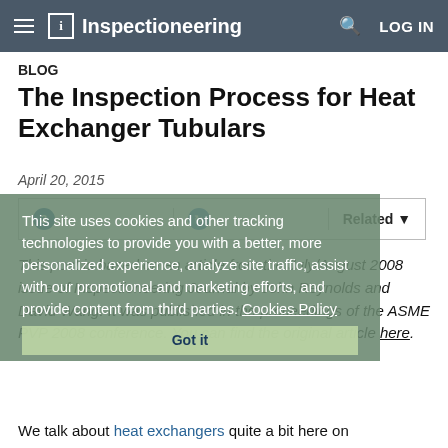Inspectioneering — LOG IN
BLOG
The Inspection Process for Heat Exchanger Tubulars
April 20, 2015
This site uses cookies and other tracking technologies to provide you with a better, more personalized experience, analyze site traffic, assist with our promotional and marketing efforts, and provide content from third parties. Cookies Policy
This post is based on an article from the July/August 2008 issue of Inspectioneering Journal by John Reynolds and David Wang. It was published in the proceedings of the ASME PVP 2008 conference. You can find the original article here.
We talk about heat exchangers quite a bit here on